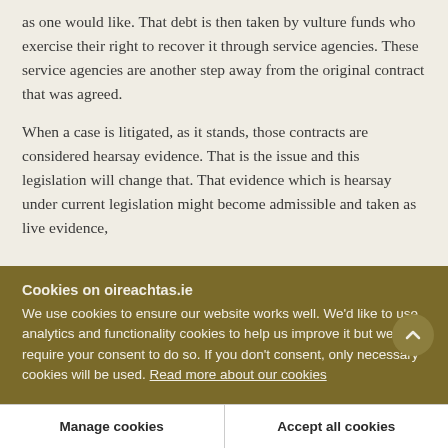as one would like. That debt is then taken by vulture funds who exercise their right to recover it through service agencies. These service agencies are another step away from the original contract that was agreed.
When a case is litigated, as it stands, those contracts are considered hearsay evidence. That is the issue and this legislation will change that. That evidence which is hearsay under current legislation might become admissible and taken as live evidence,
Cookies on oireachtas.ie
We use cookies to ensure our website works well. We'd like to use analytics and functionality cookies to help us improve it but we require your consent to do so. If you don't consent, only necessary cookies will be used. Read more about our cookies
Manage cookies
Accept all cookies